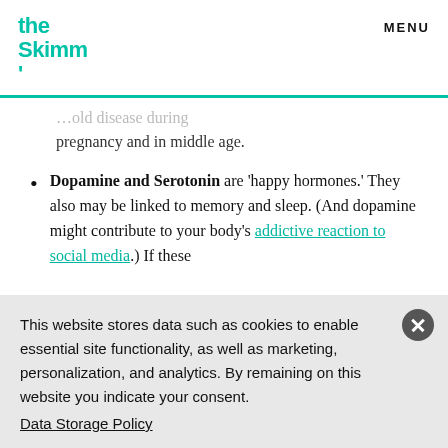the Skimm' | MENU
...old disease during pregnancy and in middle age.
Dopamine and Serotonin are 'happy hormones.' They also may be linked to memory and sleep. (And dopamine might contribute to your body's addictive reaction to social media.) If these
This website stores data such as cookies to enable essential site functionality, as well as marketing, personalization, and analytics. By remaining on this website you indicate your consent.
Data Storage Policy